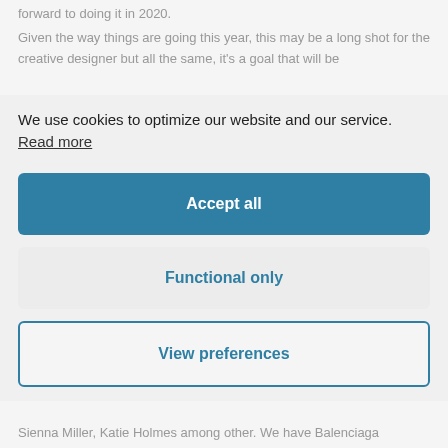forward to doing it in 2020.
Given the way things are going this year, this may be a long shot for the creative designer but all the same, it's a goal that will be
We use cookies to optimize our website and our service. Read more
Accept all
Functional only
View preferences
Sienna Miller, Katie Holmes among other. We have Balenciaga